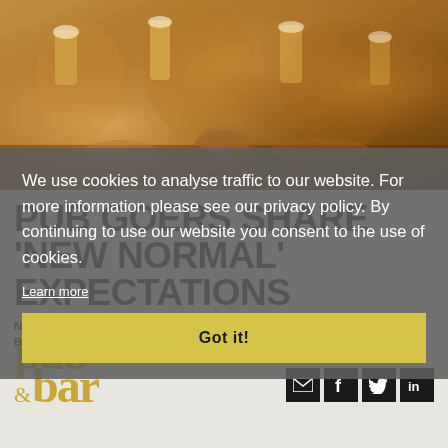[Figure (photo): People at a pub clinking beer glasses together at a table, warm amber tones]
PUB GOERS SHARE 'NEW NORMAL' EXPECTATIONS
NEW RESEARCH HAS FOUND THAT PUB CUSTOMER CONFIDENCE IS BACK TO PRE-PANDEMIC LEVELS.
We use cookies to analyse traffic to our website. For more information please see our privacy policy. By continuing to use our website you consent to the use of cookies.
Learn more
Got it!
[Figure (logo): pub & bar logo in gold/yellow serif font]
[Figure (infographic): Social media icons: email, Facebook, Twitter, LinkedIn]